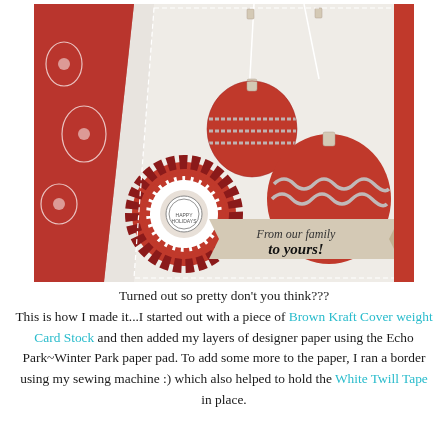[Figure (photo): A handmade Christmas card featuring red and white decorative paper, two red ornaments with silver glitter trim hanging by white string, a decorative paper rosette flower in red and white, and a kraft paper banner reading 'From our family to yours!' on a red card stock background.]
Turned out so pretty don't you think??? This is how I made it...I started out with a piece of Brown Kraft Cover weight Card Stock and then added my layers of designer paper using the Echo Park~Winter Park paper pad. To add some more to the paper, I ran a border using my sewing machine :) which also helped to hold the White Twill Tape in place.